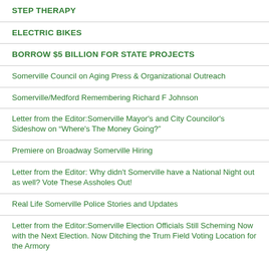STEP THERAPY
ELECTRIC BIKES
BORROW $5 BILLION FOR STATE PROJECTS
Somerville Council on Aging Press & Organizational Outreach
Somerville/Medford Remembering Richard F Johnson
Letter from the Editor:Somerville Mayor's and City Councilor's Sideshow on “Where's The Money Going?”
Premiere on Broadway Somerville Hiring
Letter from the Editor: Why didn't Somerville have a National Night out as well? Vote These Assholes Out!
Real Life Somerville Police Stories and Updates
Letter from the Editor:Somerville Election Officials Still Scheming Now with the Next Election. Now Ditching the Trum Field Voting Location for the Armory